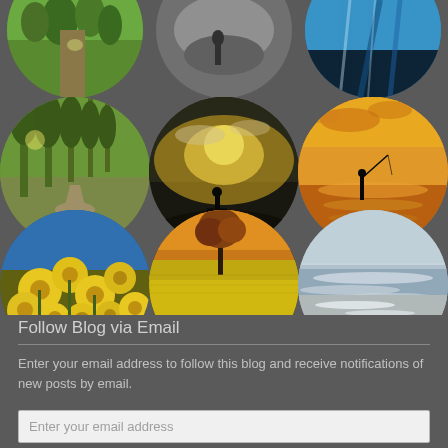[Figure (photo): Grid of 9 circular photo thumbnails arranged in 3 rows of 3: top row shows partial circles (forest path, person silhouette, teal/blue abstract), middle row shows tree-lined path, dark sky with person silhouette, golden sunset fishing scene, bottom row shows yellow flowers close-up, yellow flower field with lone tree, grey beach with waves]
Follow Blog via Email
Enter your email address to follow this blog and receive notifications of new posts by email.
Enter your email address